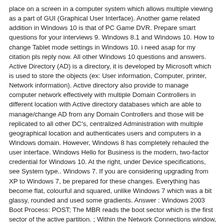place on a screen in a computer system which allows multiple viewing as a part of GUI (Graphical User Interface). Another game related addition in Windows 10 is that of PC Game DVR. Prepare smart questions for your interviews 9. Windows 8.1 and Windows 10. How to change Tablet mode settings in Windows 10. i need asap for my citation pls reply now. All other Windows 10 questions and answers. Active Directory (AD) is a directory, it is developed by Microsoft which is used to store the objects (ex: User information, Computer, printer, Network information). Active directory also provide to manage computer network effectively with multiple Domain Controllers in different location with Active directory databases which are able to manage/change AD from any Domain Controllers and those will be replicated to all other DC's, centralized Administration with multiple geographical location and authenticates users and computers in a Windows domain. However, Windows 8 has completely rehauled the user interface. Windows Hello for Business is the modern, two-factor credential for Windows 10. At the right, under Device specifications, see System type.. Windows 7. If you are considering upgrading from XP to Windows 7, be prepared for these changes. Everything has become flat, colourful and squared, unlike Windows 7 which was a bit glassy, rounded and used some gradients. Answer : Windows 2003 Boot Process: POST; The MBR reads the boot sector which is the first sector of the active partition. ; Within the Network Connections window, right-click the Local Area Connection and select properties. Answer: This was easy to follow and understand and compare. In windows DNS server, Primary Zone: In this, the file... Answer: